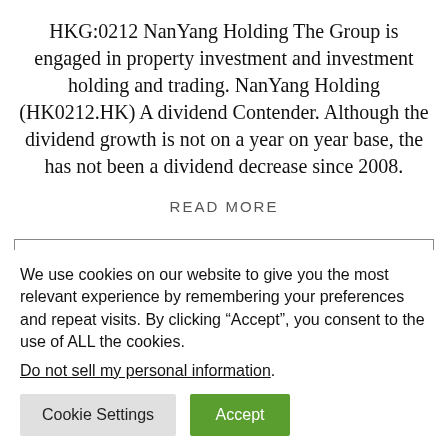HKG:0212 NanYang Holding The Group is engaged in property investment and investment holding and trading. NanYang Holding (HK0212.HK) A dividend Contender. Although the dividend growth is not on a year on year base, the has not been a dividend decrease since 2008.
READ MORE
We use cookies on our website to give you the most relevant experience by remembering your preferences and repeat visits. By clicking “Accept”, you consent to the use of ALL the cookies.
Do not sell my personal information.